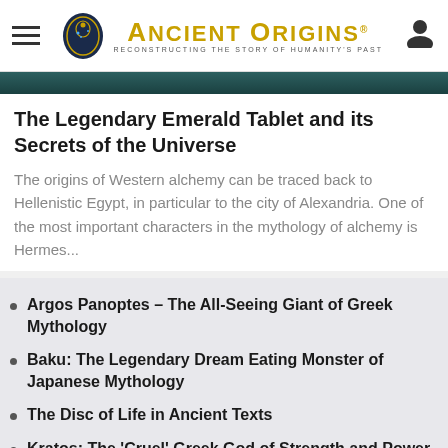Ancient Origins — Reconstructing the Story of Humanity's Past
[Figure (photo): Dark teal/green image strip at top of article]
The Legendary Emerald Tablet and its Secrets of the Universe
The origins of Western alchemy can be traced back to Hellenistic Egypt, in particular to the city of Alexandria. One of the most important characters in the mythology of alchemy is Hermes...
Argos Panoptes – The All-Seeing Giant of Greek Mythology
Baku: The Legendary Dream Eating Monster of Japanese Mythology
The Disc of Life in Ancient Texts
Kratos: The 'Cruel' Greek God of Strength and Power
Rare Roman Coin Portraying Moon Goddess Luna Retrieved from Israeli Waters